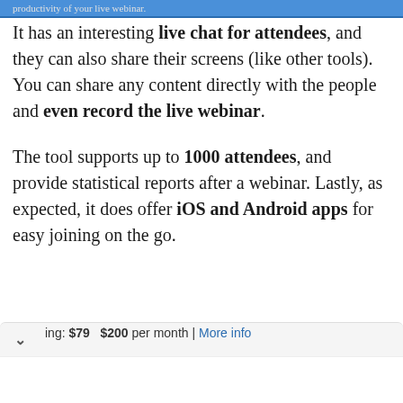productivity of your live webinar.
It has an interesting live chat for attendees, and they can also share their screens (like other tools). You can share any content directly with the people and even record the live webinar.
The tool supports up to 1000 attendees, and provide statistical reports after a webinar. Lastly, as expected, it does offer iOS and Android apps for easy joining on the go.
ing: $79  $200 per month | More info
[Figure (infographic): Advertisement for Under Armour Factory House showing brand logo, store name, and navigation icon]